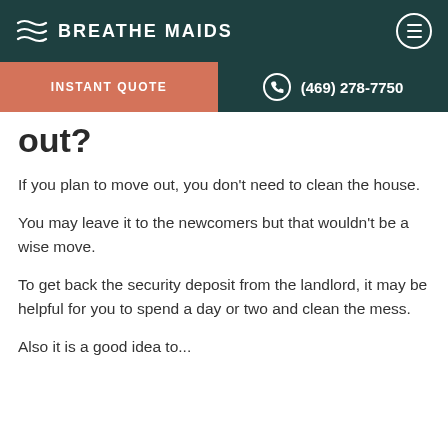BREATHE MAIDS
INSTANT QUOTE | (469) 278-7750
out?
If you plan to move out, you don’t need to clean the house.
You may leave it to the newcomers but that wouldn’t be a wise move.
To get back the security deposit from the landlord, it may be helpful for you to spend a day or two and clean the mess.
Also it is a good idea to...